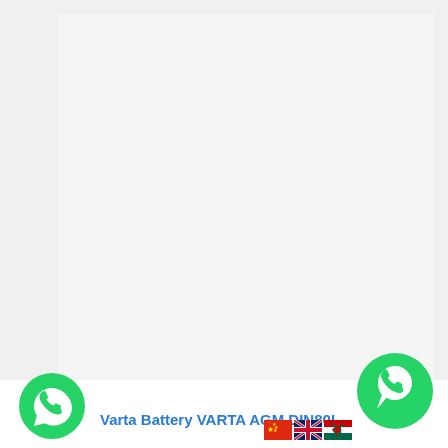[Figure (other): Mostly blank light gray page background representing a product listing page with a large empty/white content area]
Varta Battery VARTA AGM DIN80L
[Figure (other): WhatsApp icon on bottom left]
[Figure (other): WhatsApp icon on bottom right]
[Figure (other): Flag icons: China, UK, Malaysia flags]